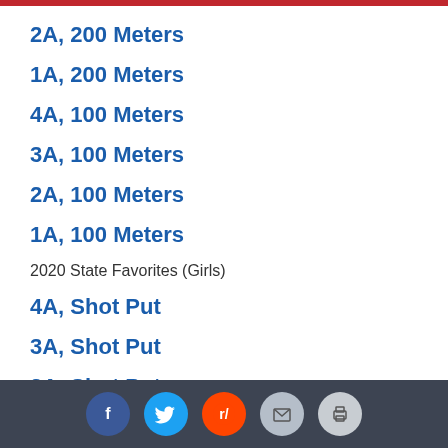2A, 200 Meters
1A, 200 Meters
4A, 100 Meters
3A, 100 Meters
2A, 100 Meters
1A, 100 Meters
2020 State Favorites (Girls)
4A, Shot Put
3A, Shot Put
2A, Shot Put
1A, Shot Put
4A, Discus
3A, Discus
Social share bar: Facebook, Twitter, Reddit, Email, Print